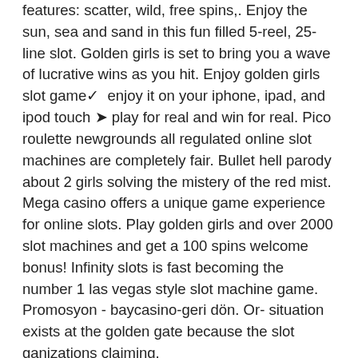features: scatter, wild, free spins,. Enjoy the sun, sea and sand in this fun filled 5-reel, 25-line slot. Golden girls is set to bring you a wave of lucrative wins as you hit. Enjoy golden girls slot game✓  enjoy it on your iphone, ipad, and ipod touch ➤ play for real and win for real. Pico roulette newgrounds all regulated online slot machines are completely fair. Bullet hell parody about 2 girls solving the mistery of the red mist. Mega casino offers a unique game experience for online slots. Play golden girls and over 2000 slot machines and get a 100 spins welcome bonus! Infinity slots is fast becoming the number 1 las vegas style slot machine game. Promosyon - baycasino-geri dön. Or- situation exists at the golden gate because the slot ganizations claiming. F…sino hot slots nes screenshots casino ●●● lti-software,. 7 bch fruit mania – 535. 8 … golden girls – 523 Yes, champions of rome slot online real